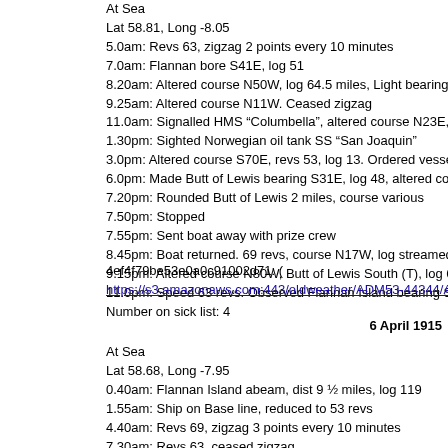At Sea
Lat 58.81, Long -8.05
5.0am: Revs 63, zigzag 2 points every 10 minutes
7.0am: Flannan bore S41E, log 51
8.20am: Altered course N50W, log 64.5 miles, Light bearing S26W, di...
9.25am: Altered course N11W. Ceased zigzag
11.0am: Signalled HMS “Columbella”, altered course N23E, log 85
1.30pm: Sighted Norwegian oil tank SS “San Joaquin”
3.0pm: Altered course S70E, revs 53, log 13. Ordered vessel to follow...
6.0pm: Made Butt of Lewis bearing S31E, log 48, altered course S48...
7.20pm: Rounded Butt of Lewis 2 miles, course various
7.50pm: Stopped
7.55pm: Sent boat away with prize crew
8.45pm: Boat returned. 69 revs, course N17W, log streamed 61.8
9.15pm: Altered course N80W, Butt of Lewis South (T), log 68.5
11.0pm: Speed 63 revs. Observed Flannan Island bearing S59W, dist...
Number on sick list: 4
4ef4f79be53e0a0c91002d71: (
https://s3.amazonaws.com:443/oldweather/ADM53-44344/ADM 53-44...
6 April 1915
At Sea
Lat 58.68, Long -7.95
0.40am: Flannan Island abeam, dist 9 ½ miles, log 119
1.55am: Ship on Base line, reduced to 53 revs
4.40am: Revs 69, zigzag 3 points every 10 minutes
7.30am: Revs 63, ceased zigzag
1.40pm: Wind hauled to WNW
2.55pm: Altered course SW ½ S to intercept SS, log 29.4, 53 revs
3.0?pm: Altered course WSW, 53 revs. Signalling to HMS “Meta...